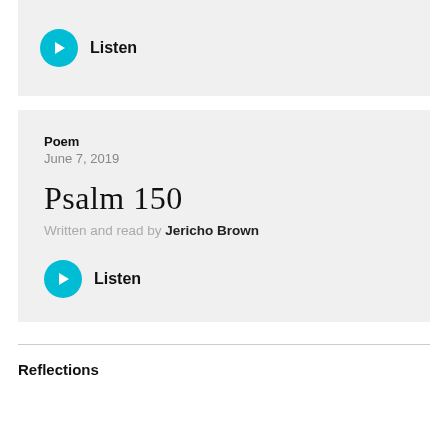[Figure (other): Cyan play button icon with Listen label in a gray card at top]
Poem
June 7, 2019
Psalm 150
Written and read by Jericho Brown
[Figure (other): Cyan play button icon with Listen label inside poem card]
Reflections